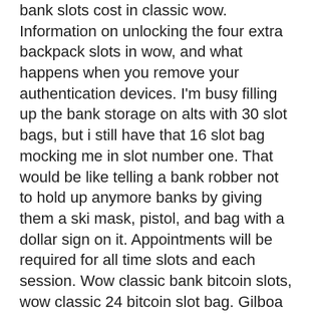bank slots cost in classic wow. Information on unlocking the four extra backpack slots in wow, and what happens when you remove your authentication devices. I'm busy filling up the bank storage on alts with 30 slot bags, but i still have that 16 slot bag mocking me in slot number one. That would be like telling a bank robber not to hold up anymore banks by giving them a ski mask, pistol, and bag with a dollar sign on it. Appointments will be required for all time slots and each session. Wow classic bank bitcoin slots, wow classic 24 bitcoin slot bag. Gilboa quarry | ottawa, oh forum - member profile &gt; profile page. User: wow classic 16 bitcoin. Rasbriggins 12 years ago#17. Backpack - 16 slot. Gigantique bag - 22 slot. Pit lord's satchel - 20 slot. The game currently won't let me have more than one herb bag in my 4 main bag slots, but i can put however